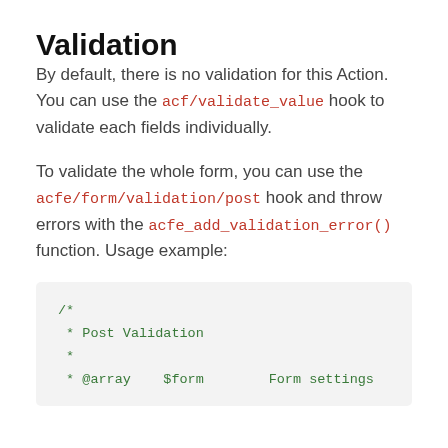Validation
By default, there is no validation for this Action. You can use the acf/validate_value hook to validate each fields individually.
To validate the whole form, you can use the acfe/form/validation/post hook and throw errors with the acfe_add_validation_error() function. Usage example:
/*
 * Post Validation
 *
 * @array   $form       Form settings